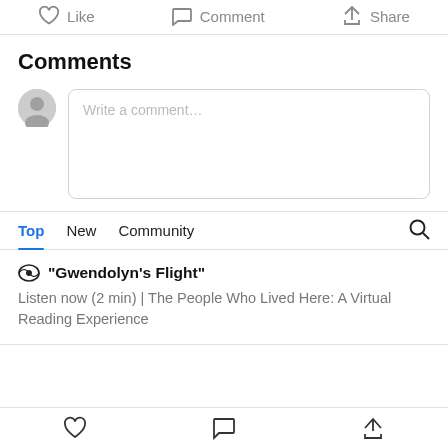Like  Comment  Share
Comments
[Figure (screenshot): Comment input box with placeholder text 'Write a comment...' and a user avatar icon to the left]
Top  New  Community
"Gwendolyn's Flight"
Listen now (2 min) | The People Who Lived Here: A Virtual Reading Experience
Like  Comment  Share